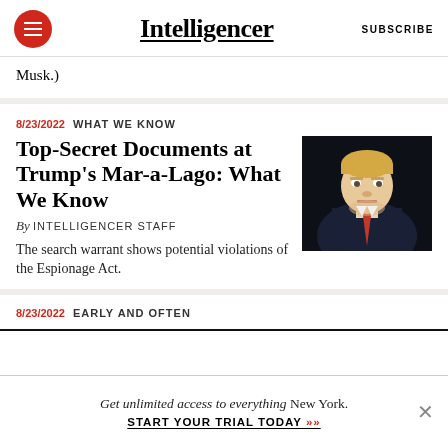Intelligencer | SUBSCRIBE
Musk.)
8/23/2022  WHAT WE KNOW
Top-Secret Documents at Trump's Mar-a-Lago: What We Know
By INTELLIGENCER STAFF
The search warrant shows potential violations of the Espionage Act.
[Figure (photo): Photograph of Donald Trump in a dark suit with red tie against a dark background]
8/23/2022  EARLY AND OFTEN
Get unlimited access to everything New York. START YOUR TRIAL TODAY »